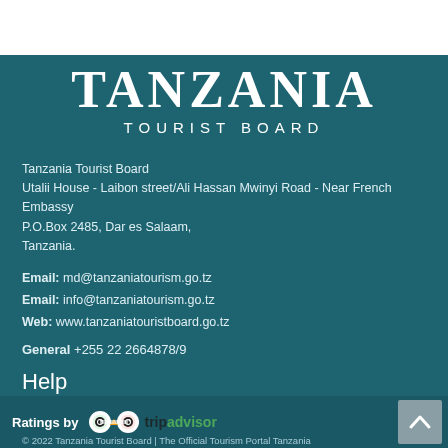[Figure (logo): Tanzania Tourist Board logo — large white serif text 'TANZANIA' with 'TOURIST BOARD' below in spaced caps, on teal background]
Tanzania Tourist Board
Utalii House - Laibon street/Ali Hassan Mwinyi Road - Near French Embassy
P.O.Box 2485, Dar es Salaam,
Tanzania.
Email: md@tanzaniatourism.go.tz
Email: info@tanzaniatourism.go.tz
Web: www.tanzaniatouristboard.go.tz
General +255 22 2664878/9
Help
FAQ's
Add your Product / Service
Terms of Use
© 2022 Tanzania Tourist Board | The Official Tourism Portal Tanzania
[Figure (logo): TripAdvisor logo with owl icon and 'tripadvisor' text in green/dark]
Ratings by